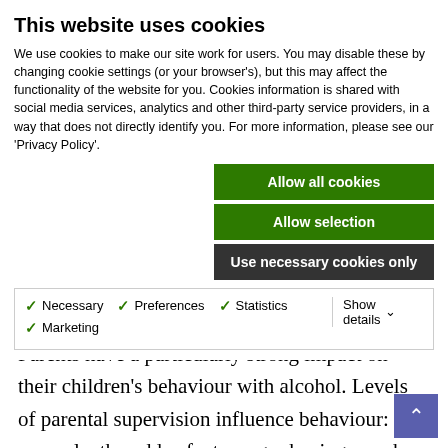This website uses cookies
We use cookies to make our site work for users. You may disable these by changing cookie settings (or your browser's), but this may affect the functionality of the website for you. Cookies information is shared with social media services, analytics and other third-party service providers, in a way that does not directly identify you. For more information, please see our 'Privacy Policy'.
Allow all cookies
Allow selection
Use necessary cookies only
Necessary  Preferences  Statistics  Marketing  Show details
odds of excessive drinking more than four times. Parents have a particularly strong impact on their children's behaviour with alcohol. Levels of parental supervision influence behaviour: for example, the odds of a teenager having ever had an alcoholic drink are greater if their parents do